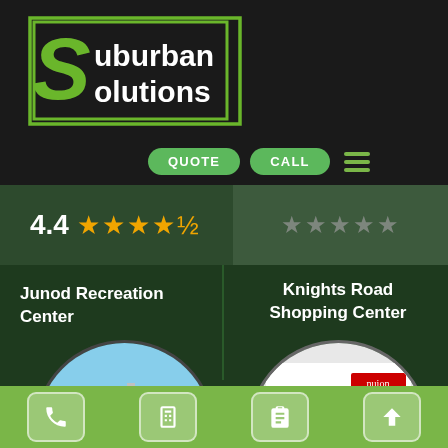[Figure (logo): Suburban Solutions logo — green S-shape with white text 'Suburban Solutions' on dark background]
QUOTE   CALL
4.4 ★★★★½
Junod Recreation Center
Knights Road Shopping Center
[Figure (photo): Circular photo of a playground with yellow and metal equipment]
[Figure (photo): Circular photo of a business card for Allen Starr, Director of Business Solutions, Nuon]
Phone | Calculator | Clipboard | Up-arrow navigation icons